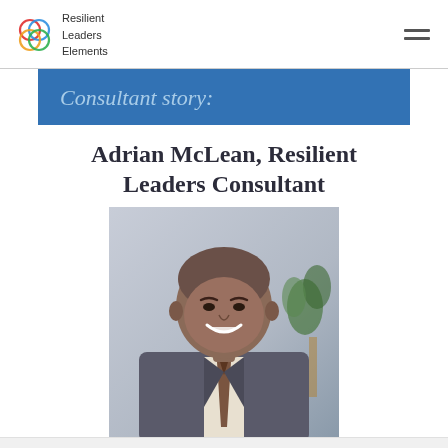Resilient Leaders Elements
Consultant story:
Adrian McLean, Resilient Leaders Consultant
[Figure (photo): Portrait photo of Adrian McLean, a man in a grey suit and patterned tie, smiling, with a plant visible in the background]
NEW
View our FREE webinar